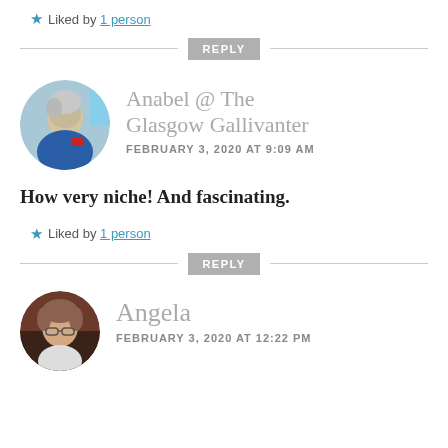Liked by 1 person
REPLY
Anabel @ The Glasgow Gallivanter
FEBRUARY 3, 2020 AT 9:09 AM
How very niche! And fascinating.
Liked by 1 person
REPLY
Angela
FEBRUARY 3, 2020 AT 12:22 PM